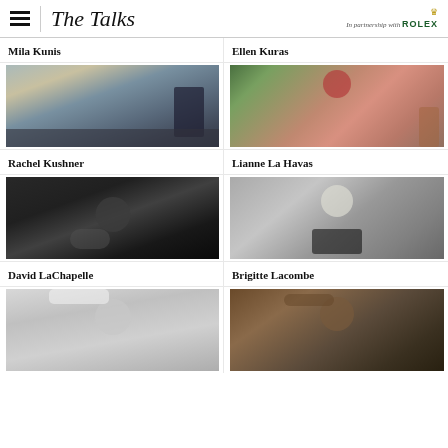The Talks — In partnership with ROLEX
Mila Kunis
Ellen Kuras
[Figure (photo): Woman in dark outfit leaning on a vintage car outdoors]
[Figure (photo): Woman with red head wrap seated among pink flowers and plants]
Rachel Kushner
Lianne La Havas
[Figure (photo): Black and white dramatic portrait of man with hands near face]
[Figure (photo): Black and white portrait of woman with short blonde/white hair in turtleneck]
David LaChapelle
Brigitte Lacombe
[Figure (photo): Black and white portrait of blonde woman (partially visible)]
[Figure (photo): Dark portrait of young man with longer hair (partially visible)]